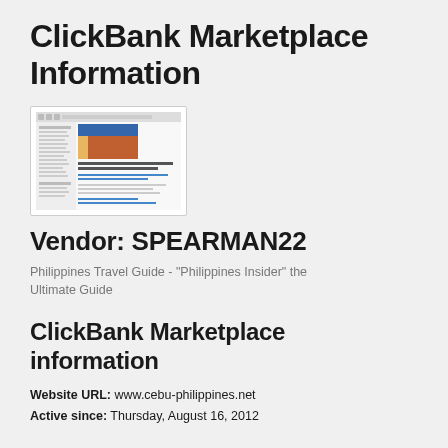ClickBank Marketplace Information
[Figure (screenshot): Screenshot of a travel website for Philippines with colorful header and text content]
Vendor: SPEARMAN22
Philippines Travel Guide - "Philippines Insider" the Ultimate Guide
ClickBank Marketplace information
Website URL: www.cebu-philippines.net
Active since: Thursday, August 16, 2012